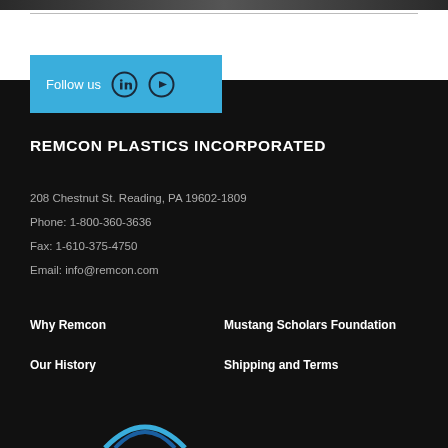[Figure (other): Top dark image bar (partial screenshot of a product or facility image)]
Follow us
REMCON PLASTICS INCORPORATED
208 Chestnut St. Reading, PA 19602-1809
Phone: 1-800-360-3636
Fax: 1-610-375-4750
Email: info@remcon.com
Why Remcon
Mustang Scholars Foundation
Our History
Shipping and Terms